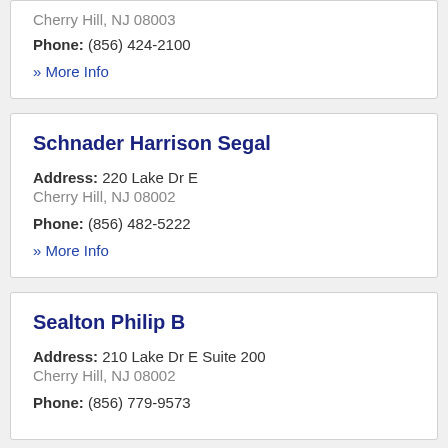Cherry Hill, NJ 08003
Phone: (856) 424-2100
» More Info
Schnader Harrison Segal
Address: 220 Lake Dr E
Cherry Hill, NJ 08002
Phone: (856) 482-5222
» More Info
Sealton Philip B
Address: 210 Lake Dr E Suite 200
Cherry Hill, NJ 08002
Phone: (856) 779-9573